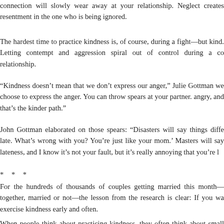connection will slowly wear away at your relationship. Neglect creates resentment in the one who is being ignored.
The hardest time to practice kindness is, of course, during a fight—but kind. Letting contempt and aggression spiral out of control during a co relationship.
“Kindness doesn’t mean that we don’t express our anger,” Julie Gottman we choose to express the anger. You can throw spears at your partner. angry, and that’s the kinder path.”
John Gottman elaborated on those spears: “Disasters will say things diffe late. What’s wrong with you? You’re just like your mom.’ Masters will say lateness, and I know it’s not your fault, but it’s really annoying that you’re l
* * *
For the hundreds of thousands of couples getting married this month— together, married or not—the lesson from the research is clear: If you wa exercise kindness early and often.
When people think about practicing kindness, they often think about small little gifts or giving one another back rubs every now and then. While kindness can also be built into the very backbone of a relationship thro